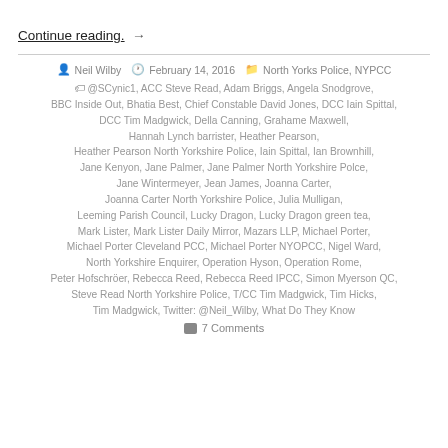Continue reading. →
Neil Wilby  February 14, 2016  North Yorks Police, NYPCC
@SCynic1, ACC Steve Read, Adam Briggs, Angela Snodgrove, BBC Inside Out, Bhatia Best, Chief Constable David Jones, DCC Iain Spittal, DCC Tim Madgwick, Della Canning, Grahame Maxwell, Hannah Lynch barrister, Heather Pearson, Heather Pearson North Yorkshire Police, Iain Spittal, Ian Brownhill, Jane Kenyon, Jane Palmer, Jane Palmer North Yorkshire Polce, Jane Wintermeyer, Jean James, Joanna Carter, Joanna Carter North Yorkshire Police, Julia Mulligan, Leeming Parish Council, Lucky Dragon, Lucky Dragon green tea, Mark Lister, Mark Lister Daily Mirror, Mazars LLP, Michael Porter, Michael Porter Cleveland PCC, Michael Porter NYOPCC, Nigel Ward, North Yorkshire Enquirer, Operation Hyson, Operation Rome, Peter Hofschröer, Rebecca Reed, Rebecca Reed IPCC, Simon Myerson QC, Steve Read North Yorkshire Police, T/CC Tim Madgwick, Tim Hicks, Tim Madgwick, Twitter: @Neil_Wilby, What Do They Know
7 Comments